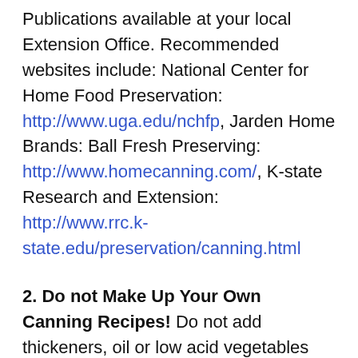Publications available at your local Extension Office. Recommended websites include: National Center for Home Food Preservation: http://www.uga.edu/nchfp, Jarden Home Brands: Ball Fresh Preserving: http://www.homecanning.com/, K-state Research and Extension: http://www.rrc.k-state.edu/preservation/canning.html
2. Do not Make Up Your Own Canning Recipes! Do not add thickeners, oil or low acid vegetables like peppers, garlic or onions to any tested recipe. Do not change the amounts of ingredients. Feel free to make these exceptions to the rule: 1) Change the salt level in anything EXCEPT pickles and sauerkraut. 2)